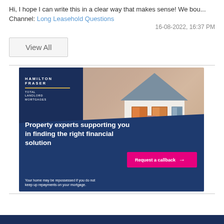Hi, I hope I can write this in a clear way that makes sense! We bou...
Channel: Long Leasehold Questions
16-08-2022, 16:37 PM
View All
[Figure (illustration): Hamilton Fraser Total Landlord Mortgages advertisement showing a house model photo with text 'Property experts supporting you in finding the right financial solution', a pink 'Request a callback' button with arrow, and disclaimer text 'Your home may be repossessed if you do not keep up repayments on your mortgage.']